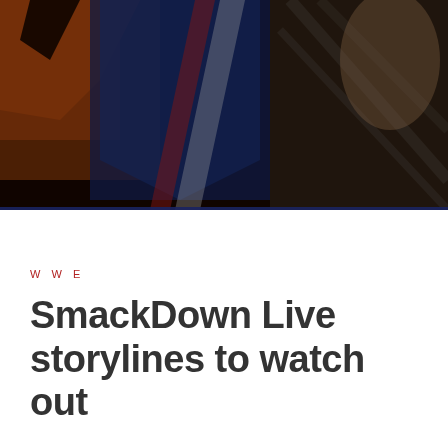[Figure (photo): Dark-toned hero image showing WWE/wrestling themed graphics with orange and blue colors, partially visible wrestler and logo elements with overlaid dark transparency.]
WWE
SmackDown Live storylines to watch out